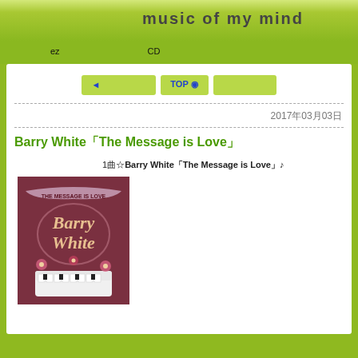music of my mind
ezで　　　　　　　　CDを
◄ 　　　　　 TOP ◉
2017年03月03日
Barry White「The Message is Love」
1曲☆Barry White「The Message is Love」♪
[Figure (photo): Album cover for Barry White The Message is Love, showing stylized text and a white piano with floral decorations on a dark red/brown background]